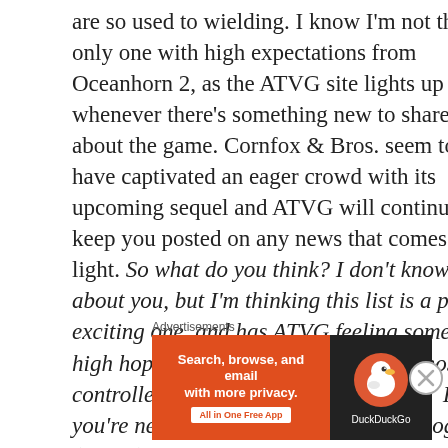are so used to wielding. I know I'm not the only one with high expectations from Oceanhorn 2, as the ATVG site lights up whenever there's something new to share about the game. Cornfox & Bros. seem to have captivated an eager crowd with its upcoming sequel and ATVG will continue to keep you posted on any news that comes to light. So what do you think? I don't know about you, but I'm thinking this list is a pretty exciting one, and has ATVG feeling some very high hopes for what's to come.  Keep those controller charged, and bring on 2019.  If you're new to The Apple TV Gaming Blog (ATVG), or just new to Apple TV gaming in general, or both, then the best place to get
Advertisements
[Figure (other): DuckDuckGo advertisement banner: orange left section with text 'Search, browse, and email with more privacy. All in One Free App' and dark right section with DuckDuckGo logo and name.]